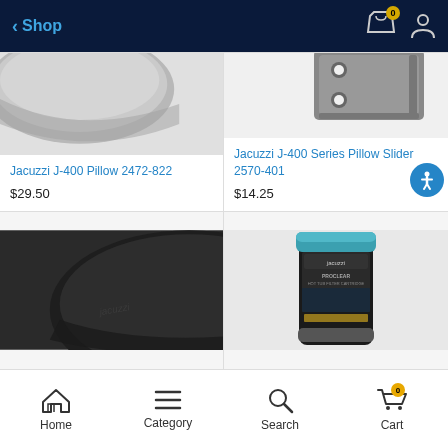Shop
[Figure (photo): Jacuzzi J-400 gray headrest pillow, top portion visible]
Jacuzzi J-400 Pillow 2472-822
$29.50
[Figure (photo): Jacuzzi J-400 Series Pillow Slider bracket, gray metal hardware with holes]
Jacuzzi J-400 Series Pillow Slider 2570-401
$14.25
[Figure (photo): Jacuzzi dark gray/charcoal headrest pillow with Jacuzzi logo embossed]
[Figure (photo): Jacuzzi ProClear hot tub filter cartridge in packaging]
Home  Category  Search  Cart